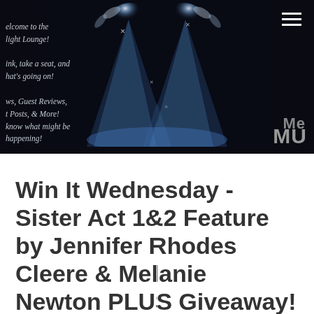[Figure (photo): Dark stage banner with spotlight effect showing beams of blue and white light illuminating a stage floor, with sparkle/star decorative elements. Left side has italic white/grey text about the site. Right side has partial grey bold text 'Me' and 'MU'. Top right has a hamburger menu icon.]
Win It Wednesday - Sister Act 1&2 Feature by Jennifer Rhodes Cleere & Melanie Newton PLUS Giveaway!